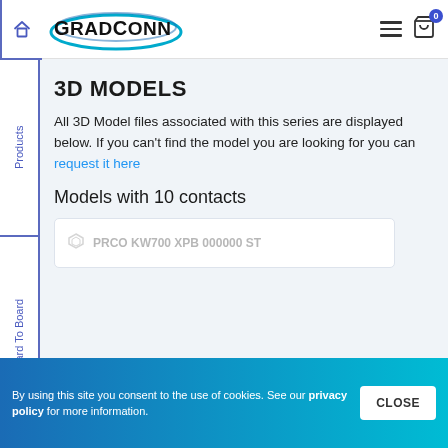[Figure (logo): GradConn logo with blue oval swoosh and black text]
3D MODELS
All 3D Model files associated with this series are displayed below. If you can't find the model you are looking for you can request it here
Models with 10 contacts
Cookie notice: By using this site you consent to the use of cookies. See our privacy policy for more information.